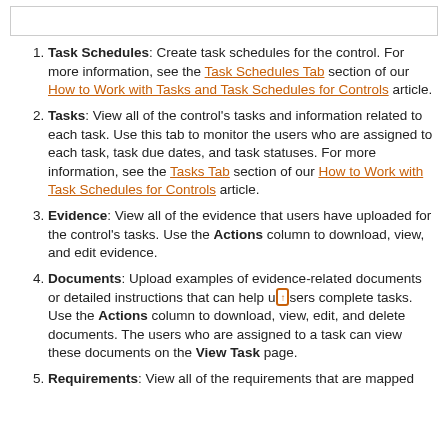[Figure (screenshot): Top portion of a bordered box/frame at the top of the page, partially visible.]
Task Schedules: Create task schedules for the control. For more information, see the Task Schedules Tab section of our How to Work with Tasks and Task Schedules for Controls article.
Tasks: View all of the control's tasks and information related to each task. Use this tab to monitor the users who are assigned to each task, task due dates, and task statuses. For more information, see the Tasks Tab section of our How to Work with Task Schedules for Controls article.
Evidence: View all of the evidence that users have uploaded for the control's tasks. Use the Actions column to download, view, and edit evidence.
Documents: Upload examples of evidence-related documents or detailed instructions that can help users complete tasks. Use the Actions column to download, view, edit, and delete documents. The users who are assigned to a task can view these documents on the View Task page.
Requirements: View all of the requirements that are mapped